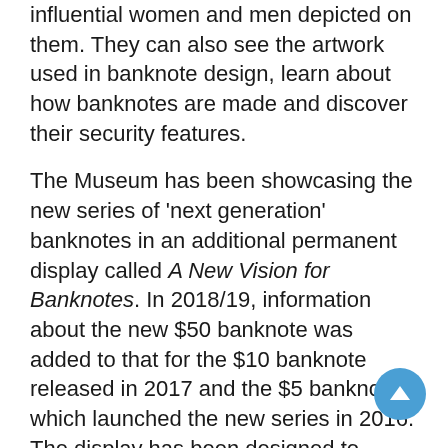influential women and men depicted on them. They can also see the artwork used in banknote design, learn about how banknotes are made and discover their security features.
The Museum has been showcasing the new series of 'next generation' banknotes in an additional permanent display called A New Vision for Banknotes. In 2018/19, information about the new $50 banknote was added to that for the $10 banknote released in 2017 and the $5 banknote, which launched the new series in 2016. The display has been designed to capture the innovative qualities of the new banknotes and the details of their production, including the tactile accessibility feature for people who are vision-impaired. A large multi-touch screen enables visitors to explore the design elements and security features of the new banknotes, along with the rich historical and social context of the imagery and stories that they contain.